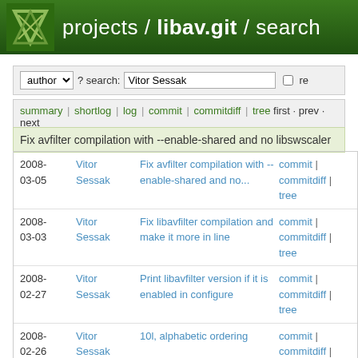projects / libav.git / search
author ? search: Vitor Sessak re
summary | shortlog | log | commit | commitdiff | tree first · prev · next
Fix avfilter compilation with --enable-shared and no libswscaler
| Date | Author | Message | Links |
| --- | --- | --- | --- |
| 2008-03-05 | Vitor Sessak | Fix avfilter compilation with --enable-shared and no... | commit | commitdiff | tree |
| 2008-03-03 | Vitor Sessak | Fix libavfilter compilation and make it more in line | commit | commitdiff | tree |
| 2008-02-27 | Vitor Sessak | Print libavfilter version if it is enabled in configure | commit | commitdiff | tree |
| 2008-02-26 | Vitor Sessak | 10l, alphabetic ordering | commit | commitdiff | |